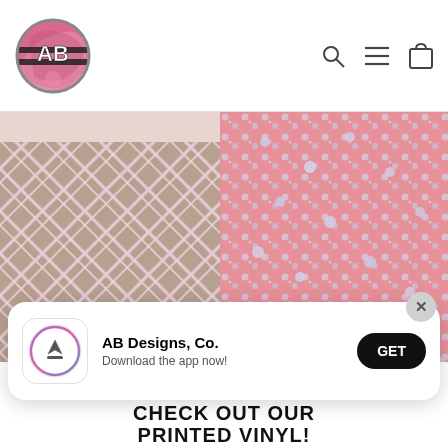[Figure (logo): AB Designs Co. circular logo with pink marble/floral background and black horizontal stripes with 'AB' text, in a circle with gray border]
[Figure (screenshot): Website header navigation icons: search (magnifying glass), hamburger menu (three lines), and shopping bag (cart) icons]
[Figure (photo): Two fabric/vinyl pattern swatches side by side: left is a diagonal pink plaid/tartan pattern on tan/beige background, right is a pink glitter/sparkle pattern with white dot spots]
[Figure (screenshot): App download banner popup: AB Designs Co. app icon (App Store style with stylized A), text 'AB Designs, Co.' and 'Download the app now!', black GET button, and X close button]
CHECK OUT OUR PRINTED VINYL!